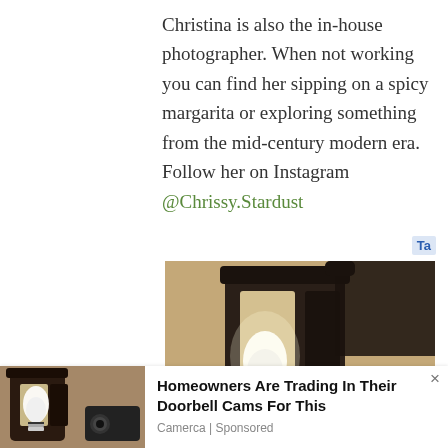Christina is also the in-house photographer. When not working you can find her sipping on a spicy margarita or exploring something from the mid-century modern era. Follow her on Instagram @Chrissy.Stardust
[Figure (photo): Close-up photo of an outdoor wall-mounted lantern with a glowing LED bulb, on a textured stucco wall]
[Figure (photo): Partially visible second photo of similar outdoor lantern with LED bulb on stucco wall, at bottom left]
Homeowners Are Trading In Their Doorbell Cams For This
Camerca | Sponsored